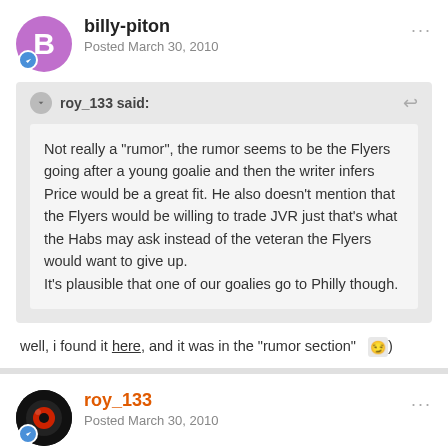billy-piton
Posted March 30, 2010
roy_133 said:
Not really a "rumor", the rumor seems to be the Flyers going after a young goalie and then the writer infers Price would be a great fit. He also doesn't mention that the Flyers would be willing to trade JVR just that's what the Habs may ask instead of the veteran the Flyers would want to give up.
It's plausible that one of our goalies go to Philly though.
well, i found it here, and it was in the "rumor section" :)
roy_133
Posted March 30, 2010